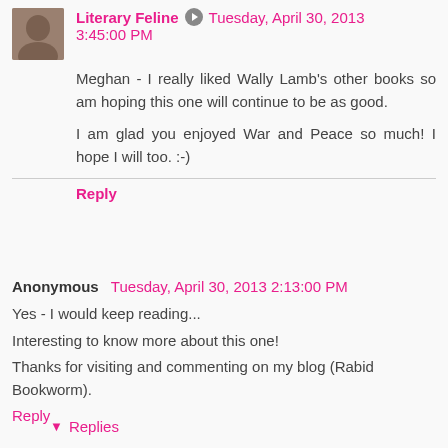Literary Feline  Tuesday, April 30, 2013 3:45:00 PM
Meghan - I really liked Wally Lamb's other books so am hoping this one will continue to be as good.
I am glad you enjoyed War and Peace so much! I hope I will too. :-)
Reply
Anonymous  Tuesday, April 30, 2013 2:13:00 PM
Yes - I would keep reading...
Interesting to know more about this one!
Thanks for visiting and commenting on my blog (Rabid Bookworm).
Reply
Replies